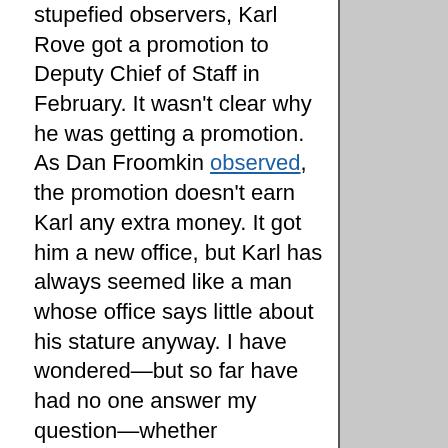stupefied observers, Karl Rove got a promotion to Deputy Chief of Staff in February. It wasn't clear why he was getting a promotion. As Dan Froomkin observed, the promotion doesn't earn Karl any extra money. It got him a new office, but Karl has always seemed like a man whose office says little about his stature anyway. I have wondered—but so far have had no one answer my question—whether